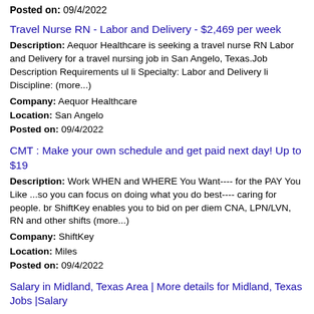Posted on: 09/4/2022
Travel Nurse RN - Labor and Delivery - $2,469 per week
Description: Aequor Healthcare is seeking a travel nurse RN Labor and Delivery for a travel nursing job in San Angelo, Texas.Job Description Requirements ul li Specialty: Labor and Delivery li Discipline: (more...)
Company: Aequor Healthcare
Location: San Angelo
Posted on: 09/4/2022
CMT : Make your own schedule and get paid next day! Up to $19
Description: Work WHEN and WHERE You Want---- for the PAY You Like ...so you can focus on doing what you do best---- caring for people. br ShiftKey enables you to bid on per diem CNA, LPN/LVN, RN and other shifts (more...)
Company: ShiftKey
Location: Miles
Posted on: 09/4/2022
Salary in Midland, Texas Area | More details for Midland, Texas Jobs |Salary